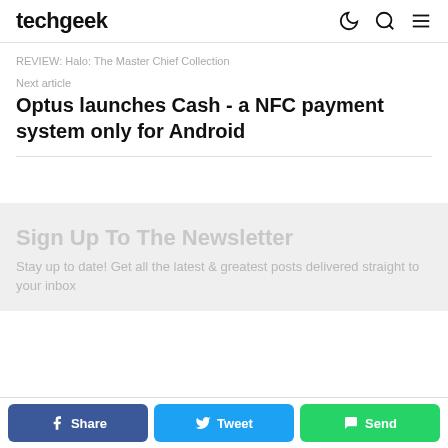techgeek
REVIEW: Halo: The Master Chief Collection
Next article
Optus launches Cash - a NFC payment system only for Android
Sign Up To The Newsletter
Stay up to date! Get all the latest & greatest posts delivered straight to your inbox
Share  Tweet  Send